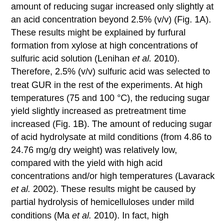amount of reducing sugar increased only slightly at an acid concentration beyond 2.5% (v/v) (Fig. 1A). These results might be explained by furfural formation from xylose at high concentrations of sulfuric acid solution (Lenihan et al. 2010). Therefore, 2.5% (v/v) sulfuric acid was selected to treat GUR in the rest of the experiments. At high temperatures (75 and 100 °C), the reducing sugar yield slightly increased as pretreatment time increased (Fig. 1B). The amount of reducing sugar of acid hydrolysate at mild conditions (from 4.86 to 24.76 mg/g dry weight) was relatively low, compared with the yield with high acid concentrations and/or high temperatures (Lavarack et al. 2002). These results might be caused by partial hydrolysis of hemicelluloses under mild conditions (Ma et al. 2010). In fact, high temperatures (120 to 200 °C) and/or high acid